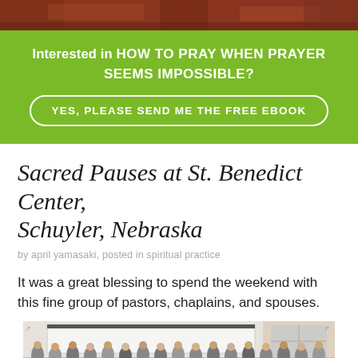[Figure (photo): Top decorative photo strip showing reddish-brown rocky landscape]
Interested in HOW TO PRAY WHEN PRAYER SEEMS IMPOSSIBLE?
YES, PLEASE SEND ME THE FREE EBOOK
Sacred Pauses at St. Benedict Center, Schuyler, Nebraska
by april yamasaki, posted in spiritual practice
It was a great blessing to spend the weekend with this fine group of pastors, chaplains, and spouses.
[Figure (photo): Group photo of pastors, chaplains, and spouses at St. Benedict Center]